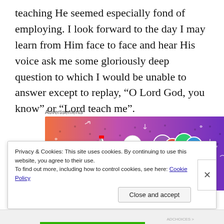teaching He seemed especially fond of employing. I look forward to the day I may learn from Him face to face and hear His voice ask me some gloriously deep question to which I would be unable to answer except to replay, “O Lord God, you know” or “Lord teach me”.
Advertisements
[Figure (other): Fandom advertisement banner with colorful gradient background (orange to purple) featuring illustrated stickers including a sailboat, skull, dice, and globe, with the word FANDOM in bold letters.]
Privacy & Cookies: This site uses cookies. By continuing to use this website, you agree to their use.
To find out more, including how to control cookies, see here: Cookie Policy
Close and accept